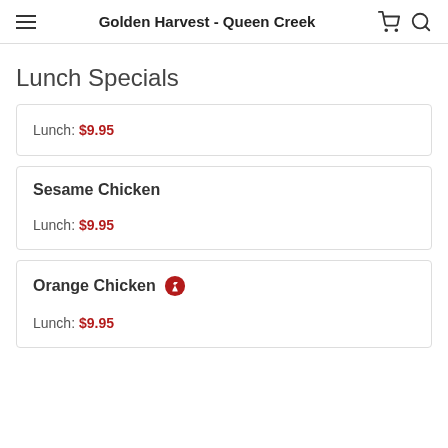Golden Harvest - Queen Creek
Lunch Specials
Lunch: $9.95
Sesame Chicken
Lunch: $9.95
Orange Chicken
Lunch: $9.95